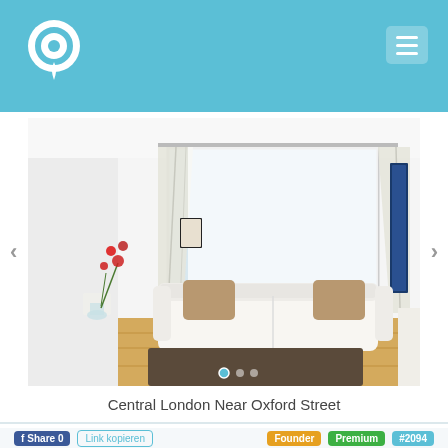[Figure (photo): Interior photo of a bright London apartment living room with white sofa, tan cushions, hardwood floors, and white curtains over a large window. Red orchid on left side. Dark rug on floor.]
Central London Near Oxford Street
Share 0  Link kopieren  Founder  Premium  #2094